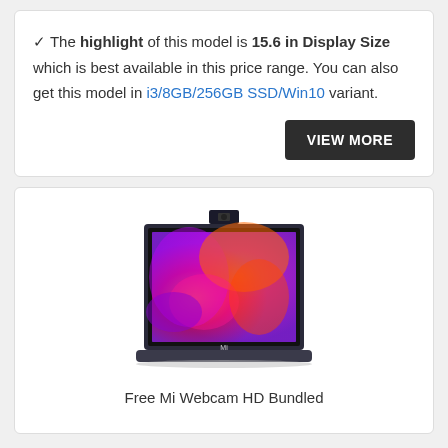✓ The highlight of this model is 15.6 in Display Size which is best available in this price range. You can also get this model in i3/8GB/256GB SSD/Win10 variant.
VIEW MORE
[Figure (photo): Mi laptop with pop-up webcam visible above the display, showing a colorful abstract wallpaper with purple and orange flame-like colors. The laptop is shown front-facing, with 'Mi' branding on the bottom bezel.]
Free Mi Webcam HD Bundled